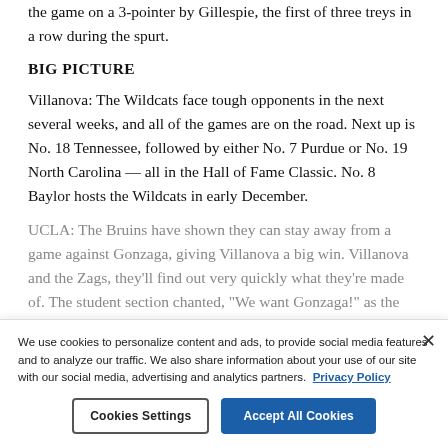the game on a 3-pointer by Gillespie, the first of three treys in a row during the spurt.
BIG PICTURE
Villanova: The Wildcats face tough opponents in the next several weeks, and all of the games are on the road. Next up is No. 18 Tennessee, followed by either No. 7 Purdue or No. 19 North Carolina — all in the Hall of Fame Classic. No. 8 Baylor hosts the Wildcats in early December.
UCLA: The Bruins have shown they can stay away from a game against Gonzaga, giving Villanova a big win. Villanova and the Zags, they'll find out very quickly what they're made of. The student section chanted, "We want Gonzaga!" as the game ended. "We heard that chant for sure," Jaquez said.
OLD FRIENDS
We use cookies to personalize content and ads, to provide social media features and to analyze our traffic. We also share information about your use of our site with our social media, advertising and analytics partners. Privacy Policy
Cookies Settings
Accept All Cookies